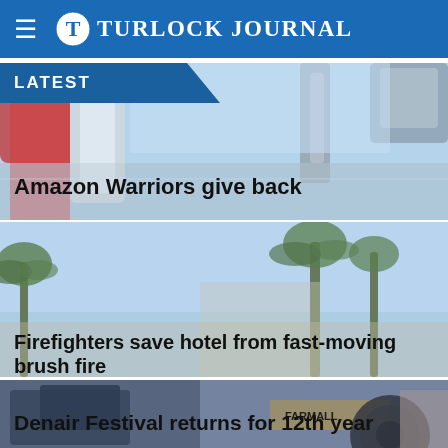Turlock Journal
LATEST
[Figure (photo): Outdoor photo showing machinery with red and white parts against blue sky background]
Amazon Warriors give back
[Figure (photo): Outdoor daytime photo with palm trees against blue sky]
Firefighters save hotel from fast-moving brush fire
[Figure (photo): Outdoor photo featuring a Farmall tractor and people at a festival]
Denair Festival returns for 12th year